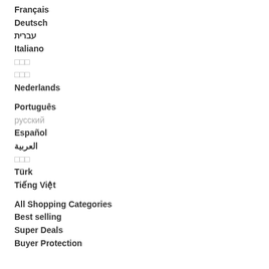Français
Deutsch
עברית
Italiano
□□□
□□□
Nederlands
Português
русский
Español
العربية
□□□
Türk
Tiếng Việt
All Shopping Categories
Best selling
Super Deals
Buyer Protection